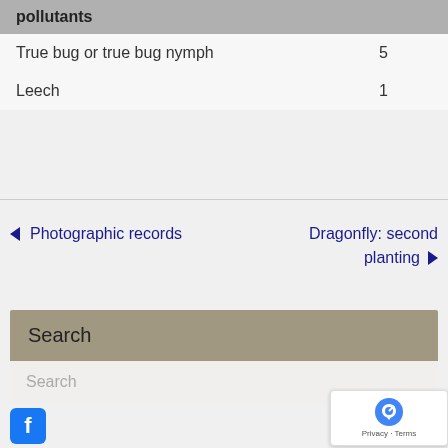| pollutants |  |
| --- | --- |
| True bug or true bug nymph | 5 |
| Leech | 1 |
← Photographic records
Dragonfly: second planting →
Search
Search